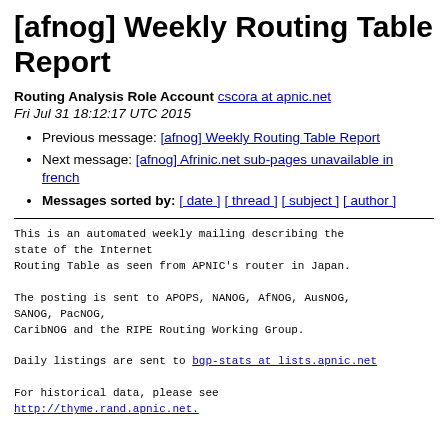[afnog] Weekly Routing Table Report
Routing Analysis Role Account cscora at apnic.net
Fri Jul 31 18:12:17 UTC 2015
Previous message: [afnog] Weekly Routing Table Report
Next message: [afnog] Afrinic.net sub-pages unavailable in french
Messages sorted by: [ date ] [ thread ] [ subject ] [ author ]
This is an automated weekly mailing describing the state of the Internet
Routing Table as seen from APNIC's router in Japan.

The posting is sent to APOPS, NANOG, AfNOG, AusNOG, SANOG, PacNOG,
CaribNOG and the RIPE Routing Working Group.

Daily listings are sent to bgp-stats at lists.apnic.net

For historical data, please see
http://thyme.rand.apnic.net.